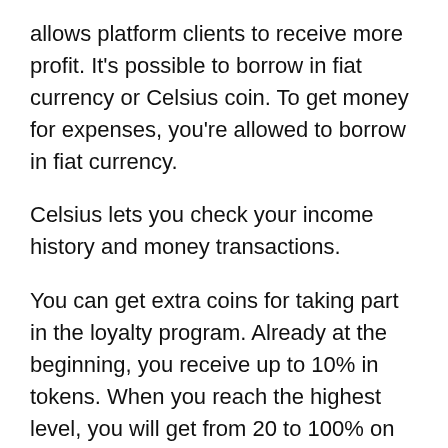allows platform clients to receive more profit. It's possible to borrow in fiat currency or Celsius coin. To get money for expenses, you're allowed to borrow in fiat currency.
Celsius lets you check your income history and money transactions.
You can get extra coins for taking part in the loyalty program. Already at the beginning, you receive up to 10% in tokens. When you reach the highest level, you will get from 20 to 100% on your account.
Is CEL A Profitable Investment?
This project is an amazing solution for newcomers who do not want to face the risks of cryptocurrency